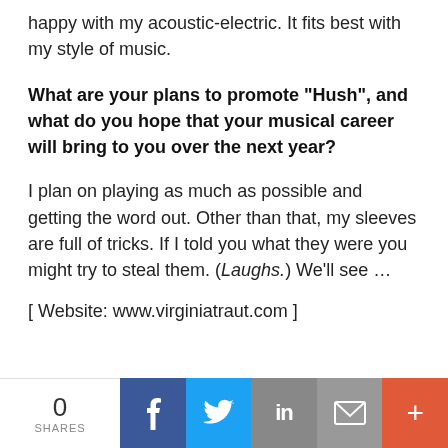happy with my acoustic-electric. It fits best with my style of music.
What are your plans to promote "Hush", and what do you hope that your musical career will bring to you over the next year?
I plan on playing as much as possible and getting the word out. Other than that, my sleeves are full of tricks. If I told you what they were you might try to steal them. (Laughs.) We'll see …
[ Website: www.virginiatraut.com ]
[Figure (infographic): Social sharing bar with 0 shares, Facebook, Twitter, LinkedIn, Email, and More buttons]